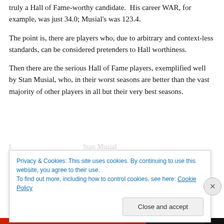truly a Hall of Fame-worthy candidate.  His career WAR, for example, was just 34.0; Musial's was 123.4.
The point is, there are players who, due to arbitrary and context-less standards, can be considered pretenders to Hall worthiness.
Then there are the serious Hall of Fame players, exemplified well by Stan Musial, who, in their worst seasons are better than the vast majority of other players in all but their very best seasons.
(partial line cut off)
Privacy & Cookies: This site uses cookies. By continuing to use this website, you agree to their use.
To find out more, including how to control cookies, see here: Cookie Policy